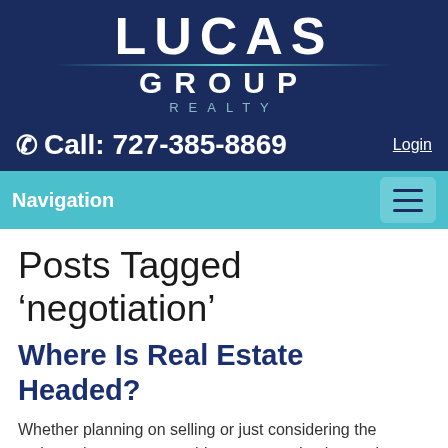[Figure (logo): Lucas Group Realty logo — white text on dark navy background, 'LUCAS' in large bold letters, 'GROUP' below with decorative lines, 'REALTY' in small spaced letters]
Call: 727-385-8869   Login
Navigation
Posts Tagged 'negotiation'
Where Is Real Estate Headed?
Whether planning on selling or just considering the options, there are some things  we need to know about being a home seller for the remainder of 2022.  Market conditions have adjusted since last year, impacting the landscape for